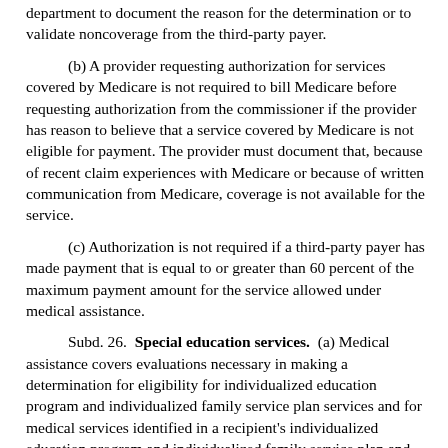department to document the reason for the determination or to validate noncoverage from the third-party payer.
(b) A provider requesting authorization for services covered by Medicare is not required to bill Medicare before requesting authorization from the commissioner if the provider has reason to believe that a service covered by Medicare is not eligible for payment. The provider must document that, because of recent claim experiences with Medicare or because of written communication from Medicare, coverage is not available for the service.
(c) Authorization is not required if a third-party payer has made payment that is equal to or greater than 60 percent of the maximum payment amount for the service allowed under medical assistance.
Subd. 26. Special education services. (a) Medical assistance covers evaluations necessary in making a determination for eligibility for individualized education program and individualized family service plan services and for medical services identified in a recipient's individualized education program and individualized family service plan and covered under the medical assistance state plan. Covered